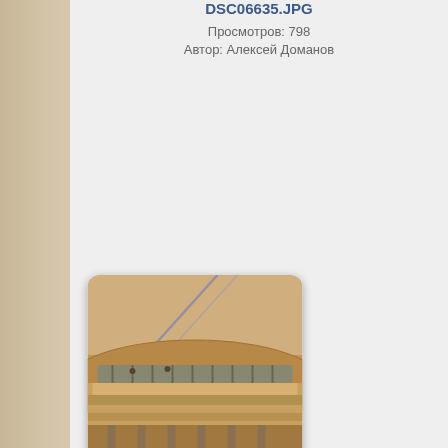DSC06635.JPG
Просмотров: 798
Автор: Алексей Доманов
[Figure (photo): Photograph of a stadium or large curved structure under construction or view, with industrial framework, seating areas and a bridge or cable structure visible in the background. Warm orange/brown toned image.]
_DSC4817.jpg
Просмотров: 715
Автор: Алексей Доманов
[Figure (photo): Partially visible thumbnail at bottom of page showing a green-tinted technical or schematic image.]